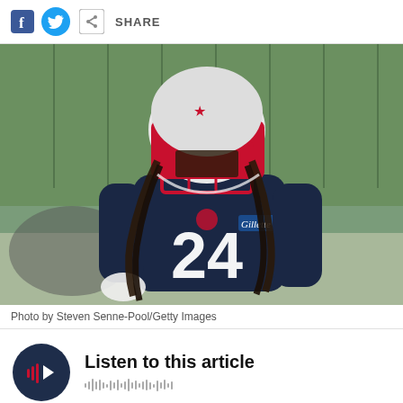SHARE
[Figure (photo): New England Patriots player wearing jersey number 24 with Gillette sponsor logo, red helmet, and dreadlocks, on a practice field]
Photo by Steven Senne-Pool/Getty Images
Listen to this article